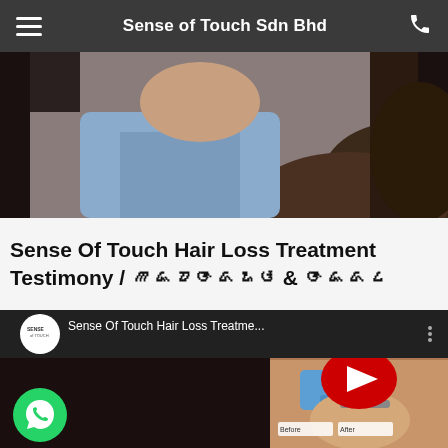Sense of Touch Sdn Bhd
[Figure (photo): Partial photo of a person receiving a hair treatment, viewed from above, with a blue-shirted practitioner visible]
Sense Of Touch Hair Loss Treatment Testimony / ᮋᮏᮕᮆᮓᮇᮉ & ᮆᮏᮓᮄ
[Figure (screenshot): Embedded YouTube video thumbnail showing 'Sense Of Touch Hair Loss Treatme...' with a red play button, Sense of Touch channel logo, and a treatment scene with a practitioner in blue gloves working on a patient's face/hair]